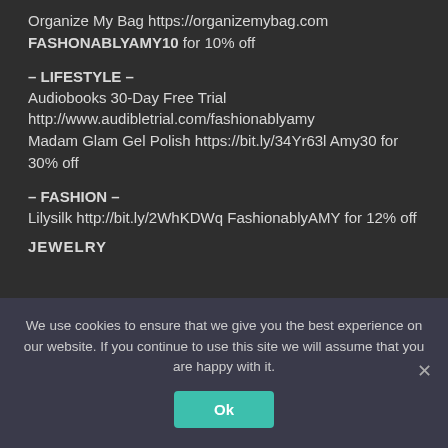Organize My Bag https://organizemybag.com FASHONABLYAMY10 for 10% off
– LIFESTYLE –
Audiobooks 30-Day Free Trial http://www.audibletrial.com/fashionablyamy Madam Glam Gel Polish https://bit.ly/34Yr63l Amy30 for 30% off
– FASHION –
Lilysilk http://bit.ly/2WhKDWq FashionablyAMY for 12% off
JEWELRY
We use cookies to ensure that we give you the best experience on our website. If you continue to use this site we will assume that you are happy with it.